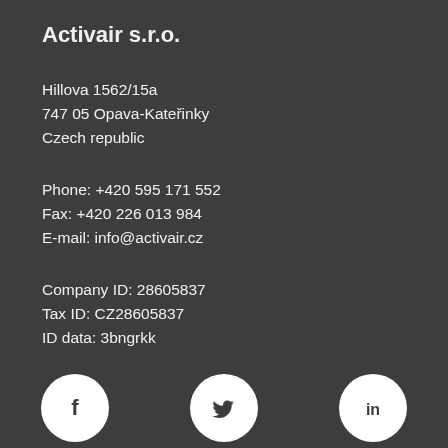Activair s.r.o.
Hillova 1562/15a
747 05 Opava-Kateřinky
Czech republic
Phone: +420 595 171 552
Fax: +420 226 013 984
E-mail: info@activair.cz
Company ID: 28605837
Tax ID: CZ28605837
ID data: 3bngrkk
[Figure (illustration): Three social media icons: Facebook (f), Twitter (bird), LinkedIn (in), white on dark background]